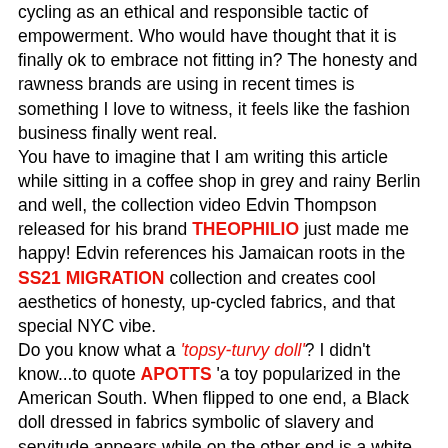cycling as an ethical and responsible tactic of empowerment. Who would have thought that it is finally ok to embrace not fitting in? The honesty and rawness brands are using in recent times is something I love to witness, it feels like the fashion business finally went real.
You have to imagine that I am writing this article while sitting in a coffee shop in grey and rainy Berlin and well, the collection video Edvin Thompson released for his brand THEOPHILIO just made me happy! Edvin references his Jamaican roots in the SS21 MIGRATION collection and creates cool aesthetics of honesty, up-cycled fabrics, and that special NYC vibe.
Do you know what a 'topsy-turvy doll'? I didn't know...to quote APOTTS 'a toy popularized in the American South. When flipped to one end, a Black doll dressed in fabrics symbolic of slavery and servitude appears while on the other end is a white doll, dressed finely. The doll, rather two dolls, represents a clear, but nuanced interpretation of racial dynamics disguised innocently; one must choose which side they would like to play with. The brand's SS21 collection is inspired by the concept of flipping things upside down and inside out. Honestly, I am blown away by getting a history lesson when looking at fashion week content. Thank you!
STUDIO 189 – I love them! Awesome Awesome Awesome artisan